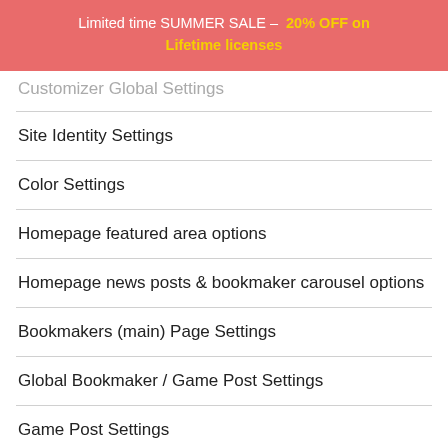Limited time SUMMER SALE – 20% OFF on Lifetime licenses
Customizer Global Settings
Site Identity Settings
Color Settings
Homepage featured area options
Homepage news posts & bookmaker carousel options
Bookmakers (main) Page Settings
Global Bookmaker / Game Post Settings
Game Post Settings